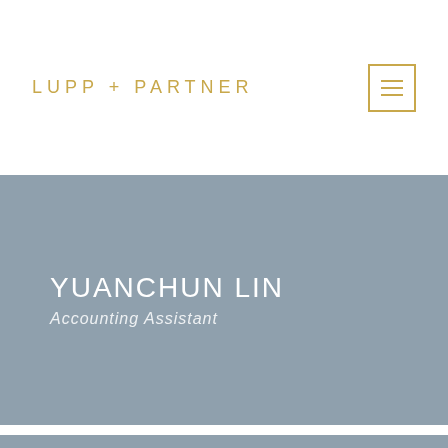LUPP + PARTNER
YUANCHUN LIN
Accounting Assistant